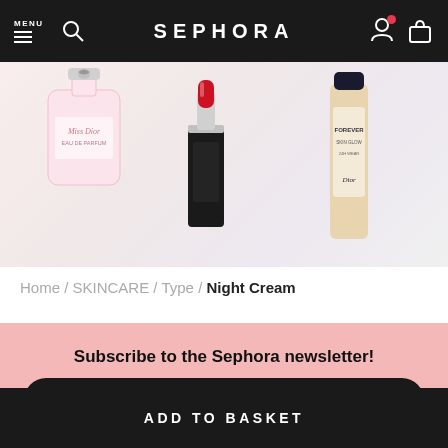MENU | Search | SEPHORA | Account | Basket
[Figure (photo): Product image strip showing Miss Dior perfume bottle, Dior Rouge Couture lipstick in red, and Dior Forever foundation bottle on white background]
Home / SKINCARE / Type / Night Cream
Subscribe to the Sephora newsletter!
Create or view my account
ADD TO BASKET